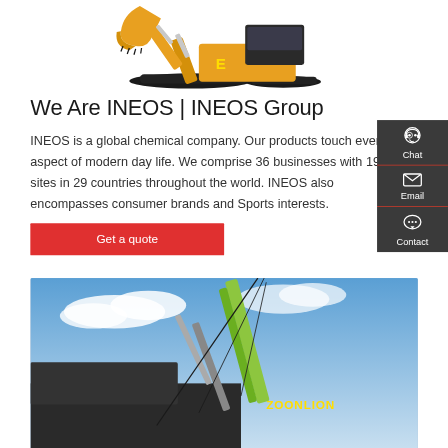[Figure (photo): Orange excavator/digger machinery on white background, showing bucket arm extended]
We Are INEOS | INEOS Group
INEOS is a global chemical company. Our products touch every aspect of modern day life. We comprise 36 businesses with 194 sites in 29 countries throughout the world. INEOS also encompasses consumer brands and Sports interests.
[Figure (infographic): Dark grey sidebar with Chat (headset icon), Email (envelope icon), and Contact (speech bubble icon) buttons, separated by red lines]
Chat
Email
Contact
[Figure (photo): Green ZOONLION crane/construction machinery against blue sky with clouds, partial view]
Get a quote